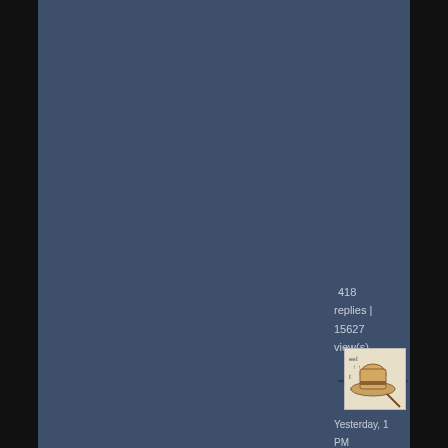[Figure (screenshot): Forum or social media interface screenshot showing a blue-gray panel layout with black side borders, a stats counter showing 418 replies and 15627 views, a small hat avatar thumbnail, and a timestamp reading Yesterday, 1 PM]
418 replies | 15627 view(s)
[Figure (photo): Small thumbnail image of a hat (fedora/straw hat) on a stick or stand, with some text/doodles on the image]
Yesterday, 1 PM